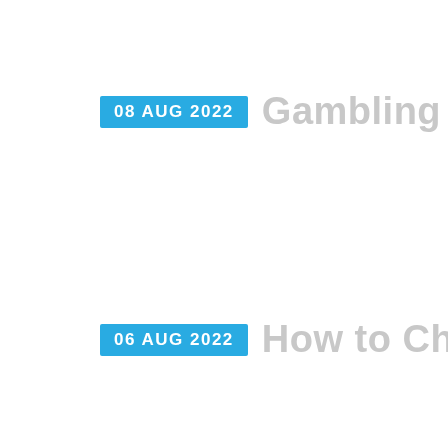08 AUG 2022  Gambling ...
06 AUG 2022  How to Ch...